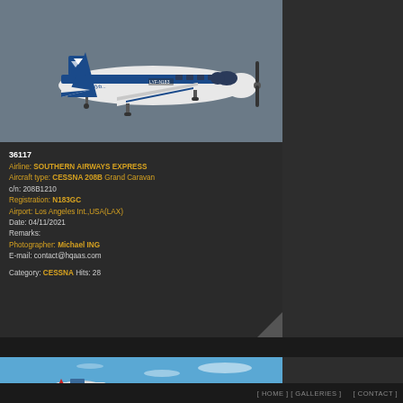[Figure (photo): White and blue Cessna 208B Grand Caravan aircraft in flight, registration N183GC, Southern Airways Express livery, against a grey-blue sky background]
36117
Airline: SOUTHERN AIRWAYS EXPRESS
Aircraft type: CESSNA 208B Grand Caravan
c/n: 208B1210
Registration: N183GC
Airport: Los Angeles Int.,USA(LAX)
Date: 04/11/2021
Remarks:
Photographer: Michael ING
E-mail: contact@hqaas.com

Category: CESSNA Hits: 28
[Figure (photo): Partial view of another aircraft on the ground, blue sky with wispy clouds in background]
[ HOME ] [ GALLERIES ]     [ CONTACT ]